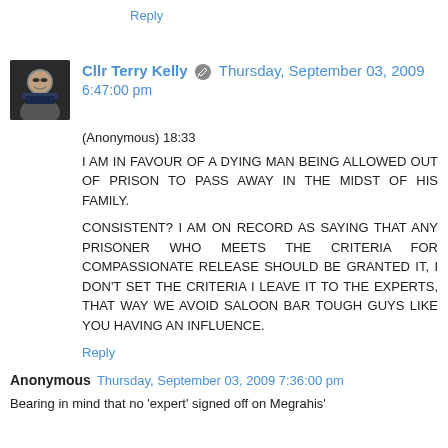Reply
Cllr Terry Kelly  Thursday, September 03, 2009 6:47:00 pm
(Anonymous) 18:33
I AM IN FAVOUR OF A DYING MAN BEING ALLOWED OUT OF PRISON TO PASS AWAY IN THE MIDST OF HIS FAMILY.

CONSISTENT? I AM ON RECORD AS SAYING THAT ANY PRISONER WHO MEETS THE CRITERIA FOR COMPASSIONATE RELEASE SHOULD BE GRANTED IT, I DON'T SET THE CRITERIA I LEAVE IT TO THE EXPERTS, THAT WAY WE AVOID SALOON BAR TOUGH GUYS LIKE YOU HAVING AN INFLUENCE.
Reply
Anonymous  Thursday, September 03, 2009 7:36:00 pm
Bearing in mind that no 'expert' signed off on Megrahis'